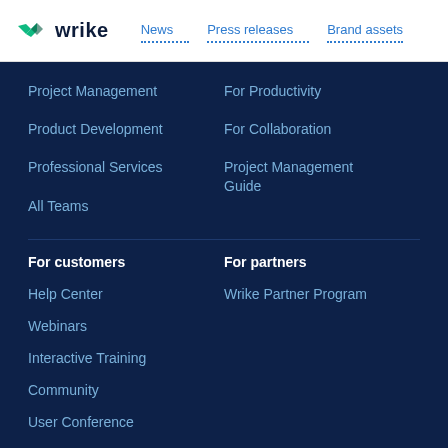wrike | News | Press releases | Brand assets
Project Management
For Productivity
Product Development
For Collaboration
Professional Services
Project Management Guide
All Teams
For customers
For partners
Help Center
Wrike Partner Program
Webinars
Interactive Training
Community
User Conference